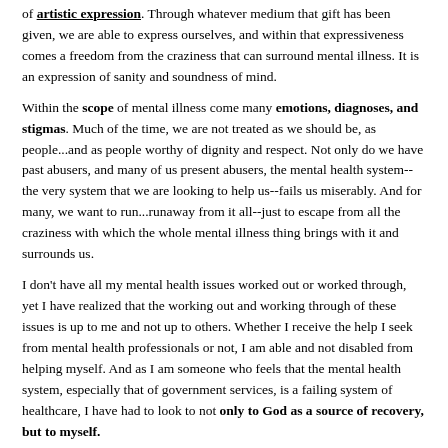of artistic expression. Through whatever medium that gift has been given, we are able to express ourselves, and within that expressiveness comes a freedom from the craziness that can surround mental illness. It is an expression of sanity and soundness of mind.
Within the scope of mental illness come many emotions, diagnoses, and stigmas. Much of the time, we are not treated as we should be, as people...and as people worthy of dignity and respect. Not only do we have past abusers, and many of us present abusers, the mental health system--the very system that we are looking to help us--fails us miserably. And for many, we want to run...runaway from it all--just to escape from all the craziness with which the whole mental illness thing brings with it and surrounds us.
I don't have all my mental health issues worked out or worked through, yet I have realized that the working out and working through of these issues is up to me and not up to others. Whether I receive the help I seek from mental health professionals or not, I am able and not disabled from helping myself. And as I am someone who feels that the mental health system, especially that of government services, is a failing system of healthcare, I have had to look to not only to God as a source of recovery, but to myself.